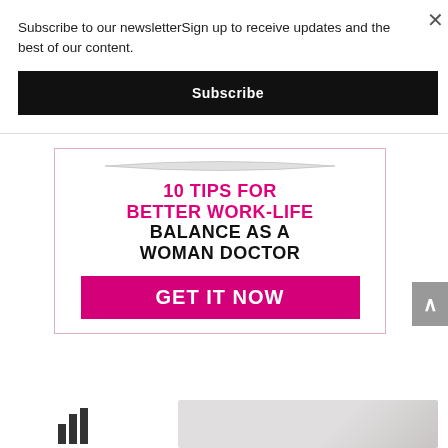Subscribe to our newsletterSign up to receive updates and the best of our content.
Subscribe
[Figure (infographic): Advertisement banner with pink border showing '10 TIPS FOR BETTER WORK-LIFE BALANCE AS A WOMAN DOCTOR' with a pink 'GET IT NOW' button]
[Figure (photo): Thumbnail photo of a woman (partially visible at bottom of page) with a bar chart icon to the left]